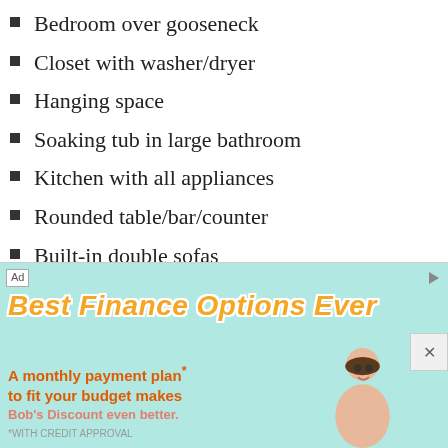Bedroom over gooseneck
Closet with washer/dryer
Hanging space
Soaking tub in large bathroom
Kitchen with all appliances
Rounded table/bar/counter
Built-in double sofas
Extra bonus loft
[Figure (infographic): Advertisement banner with light teal background reading 'Best Finance Options Ever' in large orange italic script with white outline, followed by 'A monthly payment plan to fit your budget makes Bob's Discount even better.' in orange/salmon text, with a cartoon person image on the right side and an Ad label in top-left corner.]